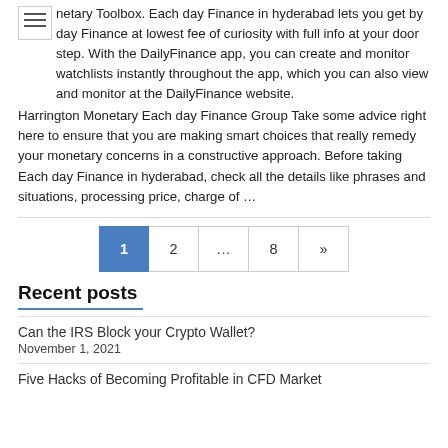Monetary Toolbox. Each day Finance in hyderabad lets you get by day Finance at lowest fee of curiosity with full info at your door step. With the DailyFinance app, you can create and monitor watchlists instantly throughout the app, which you can also view and monitor at the DailyFinance website. Harrington Monetary Each day Finance Group Take some advice right here to ensure that you are making smart choices that really remedy your monetary concerns in a constructive approach. Before taking Each day Finance in hyderabad, check all the details like phrases and situations, processing price, charge of …
1  2  ...  8  »
Recent posts
Can the IRS Block your Crypto Wallet?
November 1, 2021
Five Hacks of Becoming Profitable in CFD Market